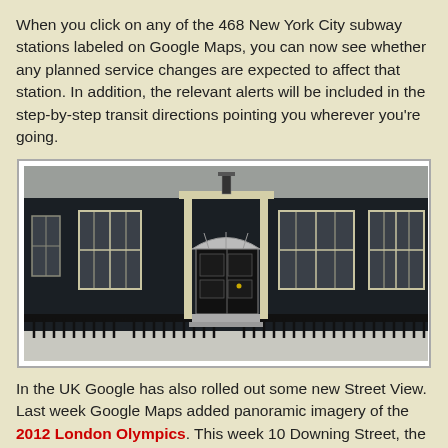When you click on any of the 468 New York City subway stations labeled on Google Maps, you can now see whether any planned service changes are expected to affect that station. In addition, the relevant alerts will be included in the step-by-step transit directions pointing you wherever you're going.
[Figure (photo): A photograph of 10 Downing Street, London — a dark brick Georgian townhouse facade with white-framed sash windows, a central black door with fanlight above and iron railings in front.]
In the UK Google has also rolled out some new Street View. Last week Google Maps added panoramic imagery of the 2012 London Olympics. This week 10 Downing Street, the home of the British Proime Minister, has been added on Street View.